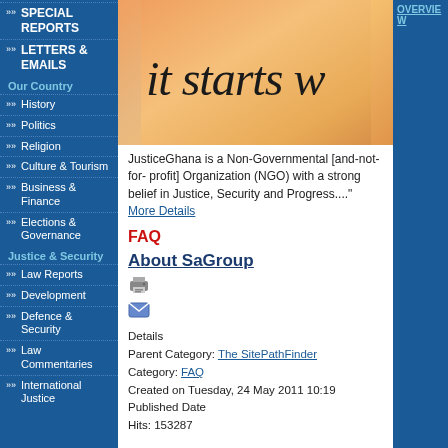SPECIAL REPORTS
LETTERS & EMAILS
Our Country
History
Politics
Religion
Culture & Tourism
Business & Finance
Elections & Governance
Justice & Security
Law Reports
Development
Defence & Security
Law Commentaries
International Justice
[Figure (photo): Close-up of text on a surface reading 'it starts w' (partial), warm orange/golden background]
JusticeGhana is a Non-Governmental [and-not-for- profit] Organization (NGO) with a strong belief in Justice, Security and Progress...." More Details
FAQ
About SaGroup
Details
Parent Category: The SitePathFinder
Category: FAQ
Created on Tuesday, 24 May 2011 10:19
Published Date
Hits: 153287
OVERVIEW